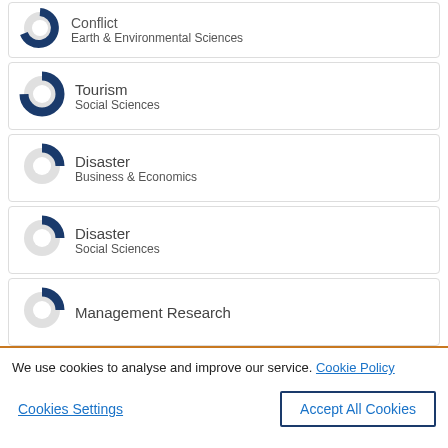Conflict / Earth & Environmental Sciences
Tourism / Social Sciences
Disaster / Business & Economics
Disaster / Social Sciences
Management Research
We use cookies to analyse and improve our service. Cookie Policy
Cookies Settings
Accept All Cookies